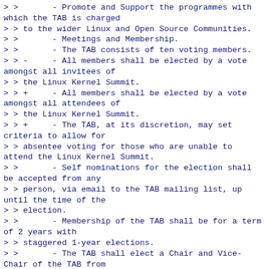> >       - Promote and Support the programmes with which the TAB is charged
> > to the wider Linux and Open Source Communities.
> >       - Meetings and Membership.
> >       - The TAB consists of ten voting members.
> > -     - All members shall be elected by a vote amongst all invitees of
> > the Linux Kernel Summit.
> > +     - All members shall be elected by a vote amongst all attendees of
> > the Linux Kernel Summit.
> > +     - The TAB, at its discretion, may set criteria to allow for
> > absentee voting for those who are unable to attend the Linux Kernel Summit.
> >       - Self nominations for the election shall be accepted from any
> > person, via email to the TAB mailing list, up until the time of the
> > election.
> >       - Membership of the TAB shall be for a term of 2 years with
> > staggered 1-year elections.
> >       - The TAB shall elect a Chair and Vice-Chair of the TAB from
> > amongst their members to serve a renewable 1 year term.
> >
> >
> > This change is intended to be a follow on to last